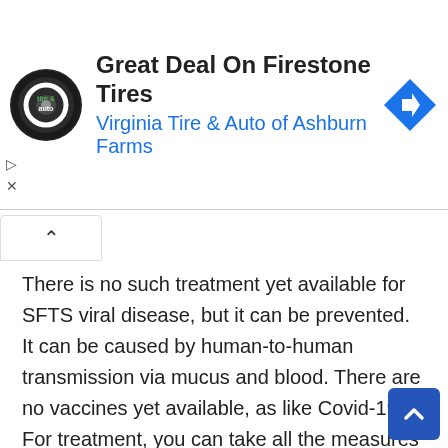[Figure (other): Advertisement banner for Virginia Tire & Auto of Ashburn Farms showing logo, title 'Great Deal On Firestone Tires', subtitle 'Virginia Tire & Auto of Ashburn Farms', and a blue navigation arrow icon]
There is no such treatment yet available for SFTS viral disease, but it can be prevented. It can be caused by human-to-human transmission via mucus and blood. There are no vaccines yet available, as like Covid-19. For treatment, you can take all the measures that are used to treat Covid-19 patients. You have to isolate the patient for 2-3 weeks. The patient will also require oxygen and a nebulizer because it damages the lungs, and the patient has difficulty in respiration. Moreover, taking steam 2-3 times a day is the best treatment for SFTS, as like for Covid-19. Ma sha Allah